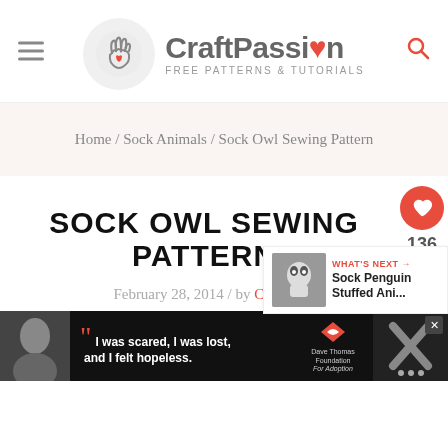[Figure (logo): CraftPassion logo with hand/heart icon, FREE PATTERNS & TUTORIALS tagline]
Home / Sock Animals / Sock Owl Sewing Pattern
SOCK OWL SEWING PATTERN
February 28, 2014 / by Craft Passion
[Figure (other): "I was scared, I was lost, and I felt hopeless." Dave Thomas Foundation for Adoption advertisement]
136
[Figure (other): WHAT'S NEXT Sock Penguin Stuffed Ani...]